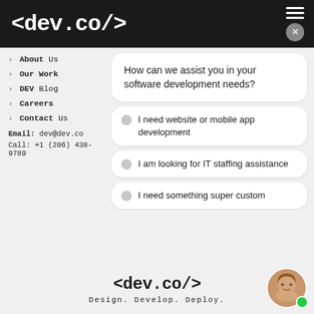<dev.co/>
› About Us
› Our Work
› DEV Blog
› Careers
› Contact Us
Email: dev@dev.co
Call: +1 (206) 438-9789
How can we assist you in your software development needs?
I need website or mobile app development
I am looking for IT staffing assistance
I need something super custom
<dev.co/>
Design. Develop. Deploy.